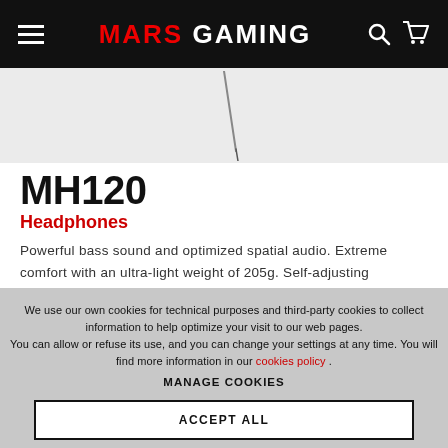MARS GAMING
[Figure (photo): Partial product image of MH120 headphones on light grey background]
MH120
Headphones
Powerful bass sound and optimized spatial audio. Extreme comfort with an ultra-light weight of 205g. Self-adjusting suspension headband. AIR breathabl ...
We use our own cookies for technical purposes and third-party cookies to collect information to help optimize your visit to our web pages. You can allow or refuse its use, and you can change your settings at any time. You will find more information in our cookies policy .
MANAGE COOKIES
ACCEPT ALL